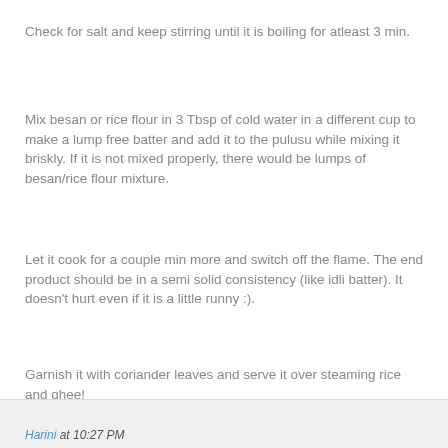Check for salt and keep stirring until it is boiling for atleast 3 min.
Mix besan or rice flour in 3 Tbsp of cold water in a different cup to make a lump free batter and add it to the pulusu while mixing it briskly. If it is not mixed properly, there would be lumps of besan/rice flour mixture.
Let it cook for a couple min more and switch off the flame. The end product should be in a semi solid consistency (like idli batter). It doesn't hurt even if it is a little runny :).
Garnish it with coriander leaves and serve it over steaming rice and ghee!
Serves 4 Adults
Preparation Time 25
min
Harini at 10:27 PM